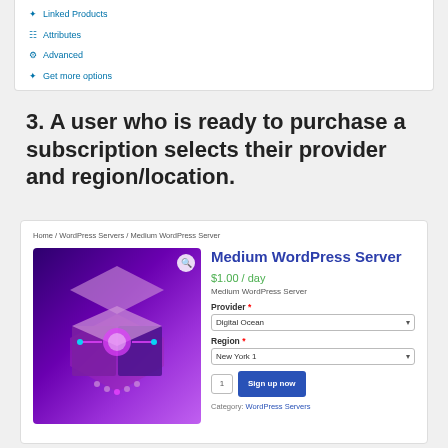Linked Products
Attributes
Advanced
Get more options
3. A user who is ready to purchase a subscription selects their provider and region/location.
[Figure (screenshot): Product page screenshot showing 'Medium WordPress Server' with breadcrumb navigation, a purple server illustration, price $1.00/day, Provider dropdown set to Digital Ocean, Region dropdown set to New York 1, and a Sign up now button.]
Home / WordPress Servers / Medium WordPress Server
Medium WordPress Server
$1.00 / day
Medium WordPress Server
Provider *
Digital Ocean
Region *
New York 1
Sign up now
Category: WordPress Servers